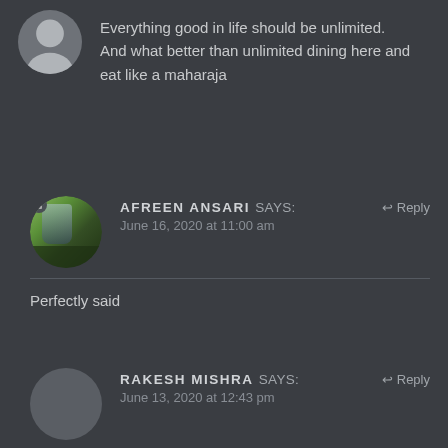Everything good in life should be unlimited.
And what better than unlimited dining here and eat like a maharaja
[Figure (photo): Circular avatar photo of Afreen Ansari showing an outdoor scene with greenery]
AFREEN ANSARI says:   ↩ Reply
June 16, 2020 at 11:00 am
Perfectly said
RAKESH MISHRA says:   ↩ Reply
June 13, 2020 at 12:43 pm